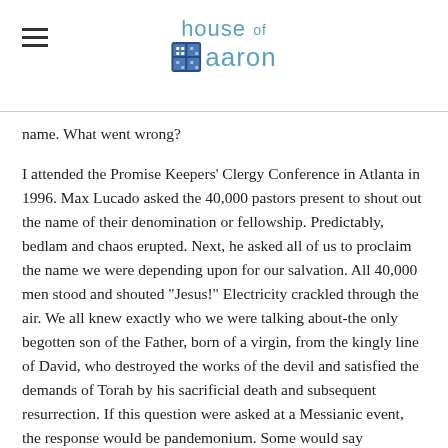house of aaron
name. What went wrong?
I attended the Promise Keepers' Clergy Conference in Atlanta in 1996. Max Lucado asked the 40,000 pastors present to shout out the name of their denomination or fellowship. Predictably, bedlam and chaos erupted. Next, he asked all of us to proclaim the name we were depending upon for our salvation. All 40,000 men stood and shouted "Jesus!" Electricity crackled through the air. We all knew exactly who we were talking about-the only begotten son of the Father, born of a virgin, from the kingly line of David, who destroyed the works of the devil and satisfied the demands of Torah by his sacrificial death and subsequent resurrection. If this question were asked at a Messianic event, the response would be pandemonium. Some would say "Yeshua," others "Yehoshua," still others "Yahshua," some "Yehushua," and on and on.
The word of truth, and so on...